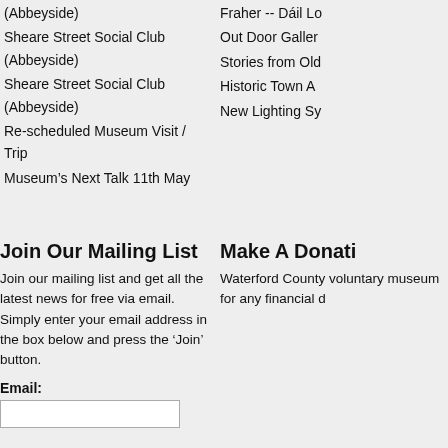(Abbeyside)
Fraher -- Dáil Lo
Sheare Street Social Club (Abbeyside)
Out Door Galler
Sheare Street Social Club (Abbeyside)
Stories from Old
Re-scheduled Museum Visit / Trip
Historic Town A
Museum's Next Talk 11th May
New Lighting Sy
Join Our Mailing List
Join our mailing list and get all the latest news for free via email. Simply enter your email address in the box below and press the 'Join' button.
Email:
Make A Donati
Waterford County voluntary museum for any financial d